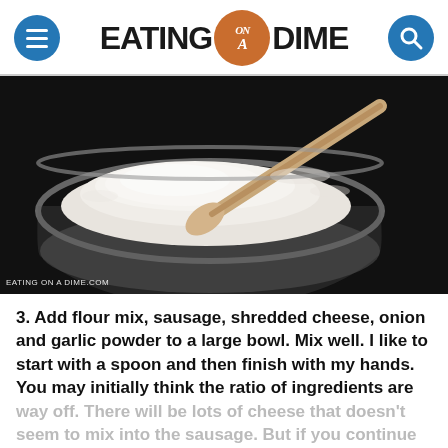EATING on a DIME
[Figure (photo): Overhead view of a glass bowl filled with white flour/powder mix and a wooden spoon resting in it, on a dark background. Watermark reads EATING ON A DIME.COM]
3. Add flour mix, sausage, shredded cheese, onion and garlic powder to a large bowl. Mix well. I like to start with a spoon and then finish with my hands. You may initially think the ratio of ingredients are way off. There will be lots of cheese that doesn't seem to mix into the sausage. But if you continue to